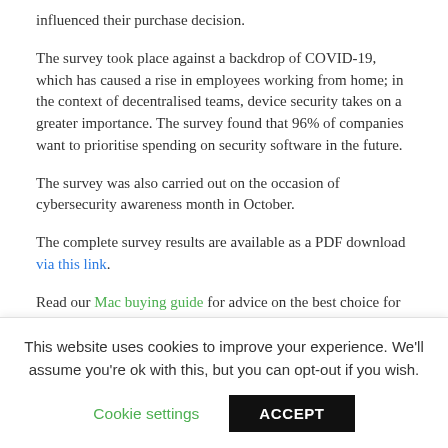influenced their purchase decision.
The survey took place against a backdrop of COVID-19, which has caused a rise in employees working from home; in the context of decentralised teams, device security takes on a greater importance. The survey found that 96% of companies want to prioritise spending on security software in the future.
The survey was also carried out on the occasion of cybersecurity awareness month in October.
The complete survey results are available as a PDF download via this link.
Read our Mac buying guide for advice on the best choice for
This website uses cookies to improve your experience. We'll assume you're ok with this, but you can opt-out if you wish.
Cookie settings
ACCEPT